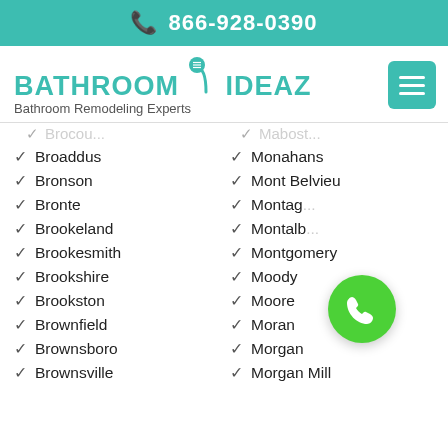866-928-0390
[Figure (logo): Bathroom Ideaz logo with shower head icon and tagline 'Bathroom Remodeling Experts']
Broaddus
Monahans
Bronson
Mont Belvieu
Bronte
Montag...
Brookeland
Montalb...
Brookesmith
Montgomery
Brookshire
Moody
Brookston
Moore
Brownfield
Moran
Brownsboro
Morgan
Brownsville
Morgan Mill